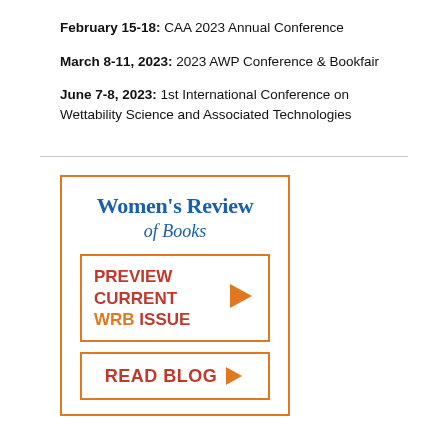February 15-18: CAA 2023 Annual Conference
March 8-11, 2023: 2023 AWP Conference & Bookfair
June 7-8, 2023: 1st International Conference on Wettability Science and Associated Technologies
[Figure (infographic): Women's Review of Books advertisement with orange border, blue serif title 'Women's Review of Books', a 'PREVIEW CURRENT WRB ISSUE' button with orange play arrow, and a 'READ BLOG' button with orange arrow, all on white background.]